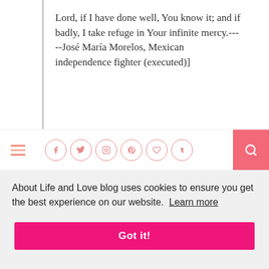Lord, if I have done well, You know it; and if badly, I take refuge in Your infinite mercy.-----José María Morelos, Mexican independence fighter (executed)]
[Figure (other): Website navigation bar with hamburger menu icon, social media icons (Facebook, Twitter, Instagram, Pinterest, heart/Bloglovin, Tumblr) in pink circular outlines, and a pink search button on the right.]
About Life and Love blog uses cookies to ensure you get the best experience on our website.  Learn more
Got it!